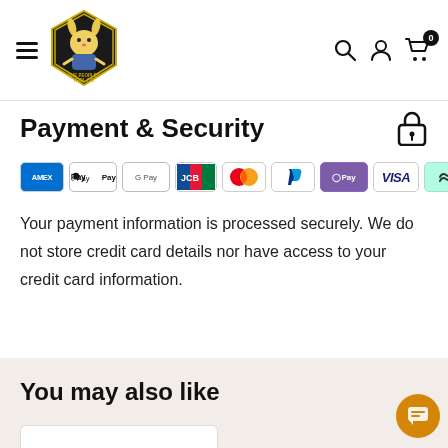[Figure (logo): The People's Tool Co. logo with cartoon rabbit character in a yellow diamond shield, text below]
Payment & Security
[Figure (other): Payment method icons: American Express, Apple Pay, Google Pay, JCB, Mastercard, PayPal, OPay, Visa, Afterpay]
Your payment information is processed securely. We do not store credit card details nor have access to your credit card information.
You may also like